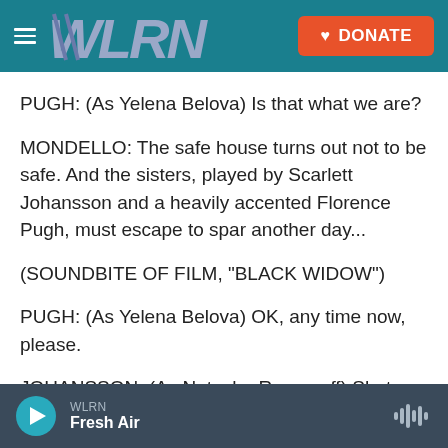[Figure (screenshot): WLRN website header with teal background, hamburger menu icon, WLRN logo in gray/silver italic text, and orange DONATE button with heart icon]
PUGH: (As Yelena Belova) Is that what we are?
MONDELLO: The safe house turns out not to be safe. And the sisters, played by Scarlett Johansson and a heavily accented Florence Pugh, must escape to spar another day...
(SOUNDBITE OF FILM, "BLACK WIDOW")
PUGH: (As Yelena Belova) OK, any time now, please.
JOHANSSON: (As Natasha Romanoff) Shut up.
[Figure (screenshot): Audio player footer bar in dark blue-gray with play button, WLRN station label, Fresh Air show title, and waveform icon]